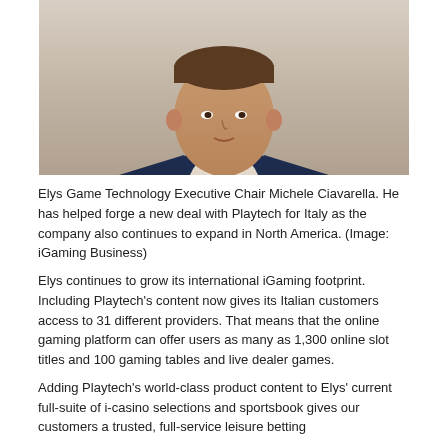[Figure (photo): Portrait photo of Elys Game Technology Executive Chair Michele Ciavarella, a man in a dark navy suit, photographed from the chest up against a light background.]
Elys Game Technology Executive Chair Michele Ciavarella. He has helped forge a new deal with Playtech for Italy as the company also continues to expand in North America. (Image: iGaming Business)
Elys continues to grow its international iGaming footprint. Including Playtech's content now gives its Italian customers access to 31 different providers. That means that the online gaming platform can offer users as many as 1,300 online slot titles and 100 gaming tables and live dealer games.
Adding Playtech's world-class product content to Elys' current full-suite of i-casino selections and sportsbook gives our customers a trusted, full-service leisure betting